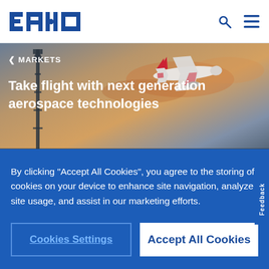EATON — navigation header with search and menu icons
[Figure (screenshot): Eaton website hero image showing an airplane in flight against a sunset sky with tower silhouette, with breadcrumb MARKETS and headline Take flight with next generation aerospace technologies]
Take flight with next generation aerospace technologies
By clicking “Accept All Cookies”, you agree to the storing of cookies on your device to enhance site navigation, analyze site usage, and assist in our marketing efforts.
Cookies Settings
Accept All Cookies
Contact us